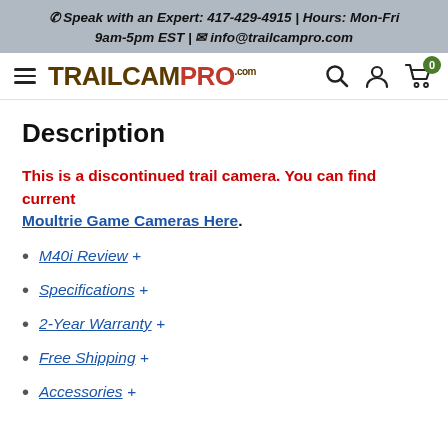☎ Speak with an Expert: 417-429-4915 | Hours: Mon-Fri 9am-5pm EST | ✉ info@trailcampro.com
[Figure (logo): TrailCamPro logo with hamburger menu, search, account, and cart icons]
Description
This is a discontinued trail camera. You can find current Moultrie Game Cameras Here.
M40i Review  +
Specifications  +
2-Year Warranty  +
Free Shipping  +
Accessories  +